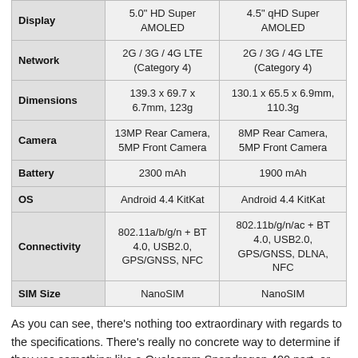|  | Device 1 | Device 2 |
| --- | --- | --- |
| Display | 5.0" HD Super AMOLED | 4.5" qHD Super AMOLED |
| Network | 2G / 3G / 4G LTE (Category 4) | 2G / 3G / 4G LTE (Category 4) |
| Dimensions | 139.3 x 69.7 x 6.7mm, 123g | 130.1 x 65.5 x 6.9mm, 110.3g |
| Camera | 13MP Rear Camera, 5MP Front Camera | 8MP Rear Camera, 5MP Front Camera |
| Battery | 2300 mAh | 1900 mAh |
| OS | Android 4.4 KitKat | Android 4.4 KitKat |
| Connectivity | 802.11a/b/g/n + BT 4.0, USB2.0, GPS/GNSS, NFC | 802.11b/g/n/ac + BT 4.0, USB2.0, GPS/GNSS, DLNA, NFC |
| SIM Size | NanoSIM | NanoSIM |
As you can see, there's nothing too extraordinary with regards to the specifications. There's really no concrete way to determine if they use something like a Qualcomm Snapdragon 400 part, or one of Samsung's own Exynos SoCa. Samsung has also not specified